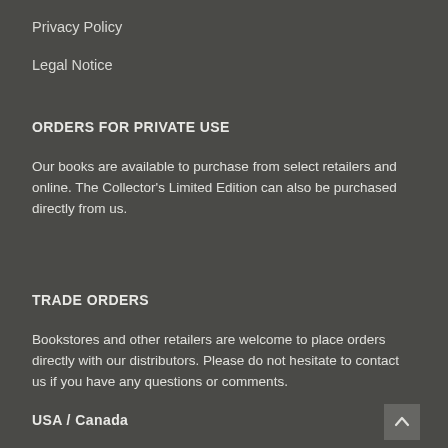Privacy Policy
Legal Notice
ORDERS FOR PRIVATE USE
Our books are available to purchase from select retailers and online. The Collector's Limited Edition can also be purchased directly from us.
TRADE ORDERS
Bookstores and other retailers are welcome to place orders directly with our distributors. Please do not hesitate to contact us if you have any questions or comments.
USA / Canada